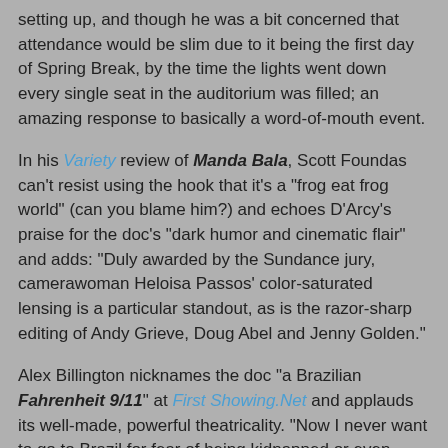setting up, and though he was a bit concerned that attendance would be slim due to it being the first day of Spring Break, by the time the lights went down every single seat in the auditorium was filled; an amazing response to basically a word-of-mouth event.
In his Variety review of Manda Bala, Scott Foundas can't resist using the hook that it's a "frog eat frog world" (can you blame him?) and echoes D'Arcy's praise for the doc's "dark humor and cinematic flair" and adds: "Duly awarded by the Sundance jury, camerawoman Heloisa Passos' color-saturated lensing is a particular standout, as is the razor-sharp editing of Andy Grieve, Doug Abel and Jenny Golden."
Alex Billington nicknames the doc "a Brazilian Fahrenheit 9/11" at First Showing.Net and applauds its well-made, powerful theatricality. "Now I never want to go to Brazil for fear of being kidnapped or even being caught up in the incredibly corrupt political system," he admits. He's not confident, however, that the film on its own merits will attract audiences because of the disturbing content of its subject matter.